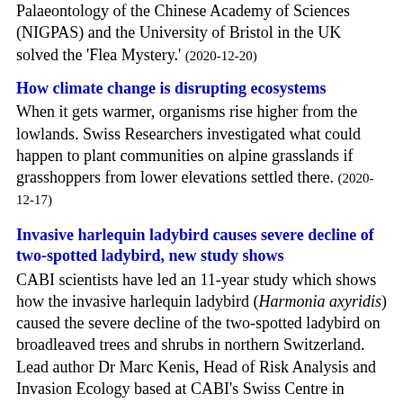Palaeontology of the Chinese Academy of Sciences (NIGPAS) and the University of Bristol in the UK solved the 'Flea Mystery.' (2020-12-20)
How climate change is disrupting ecosystems
When it gets warmer, organisms rise higher from the lowlands. Swiss Researchers investigated what could happen to plant communities on alpine grasslands if grasshoppers from lower elevations settled there. (2020-12-17)
Invasive harlequin ladybird causes severe decline of two-spotted ladybird, new study shows
CABI scientists have led an 11-year study which shows how the invasive harlequin ladybird (Harmonia axyridis) caused the severe decline of the two-spotted ladybird on broadleaved trees and shrubs in northern Switzerland. Lead author Dr Marc Kenis, Head of Risk Analysis and Invasion Ecology based at CABI's Swiss Centre in Delémont, of the